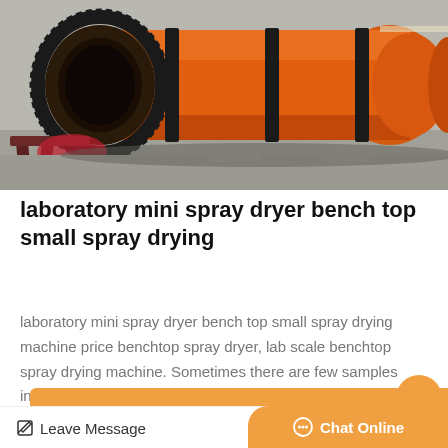[Figure (photo): Industrial orange rotary drum dryer machine lying horizontally on a concrete surface outdoors. Large cylindrical orange drum with black gear ring visible at the left end and black support rings along the body.]
laboratory mini spray dryer bench top small spray drying
laboratory mini spray dryer bench top small spray drying machine price benchtop spray dryer, lab scale benchtop spray drying machine. Sometimes there are few samples in the...